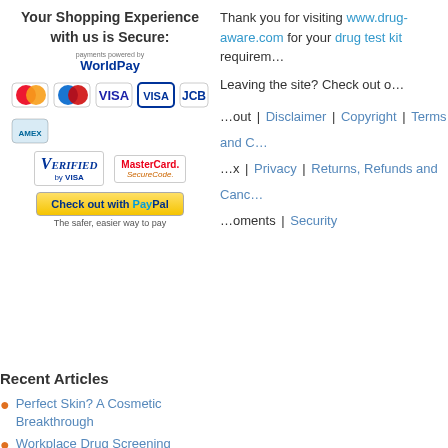Your Shopping Experience with us is Secure:
[Figure (logo): WorldPay, Visa, Mastercard, JCB, Amex, Verified by Visa, MasterCard SecureCode, PayPal payment logos]
Thank you for visiting www.drug-aware.com for your drug test kit requirements.
Leaving the site? Check out our...
About | Disclaimer | Copyright | Terms and Conditions | Privacy | Returns, Refunds and Cancellations | Payments | Security
Recent Articles
Perfect Skin? A Cosmetic Breakthrough
Workplace Drug Screening